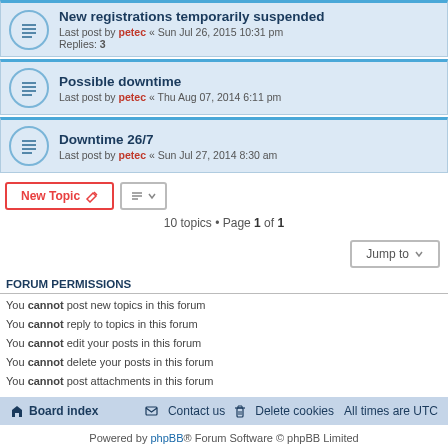New registrations temporarily suspended — Last post by petec « Sun Jul 26, 2015 10:31 pm — Replies: 3
Possible downtime — Last post by petec « Thu Aug 07, 2014 6:11 pm
Downtime 26/7 — Last post by petec « Sun Jul 27, 2014 8:30 am
10 topics • Page 1 of 1
FORUM PERMISSIONS
You cannot post new topics in this forum
You cannot reply to topics in this forum
You cannot edit your posts in this forum
You cannot delete your posts in this forum
You cannot post attachments in this forum
Board index | Contact us | Delete cookies | All times are UTC
Powered by phpBB® Forum Software © phpBB Limited
Privacy | Terms